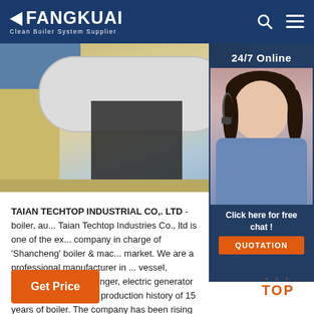FANGKUAI - Clean Boiler System Supplier
[Figure (photo): Industrial boiler equipment in a facility with yellow/tan walls and blue ceiling]
[Figure (photo): 24/7 Online support agent - woman with headset smiling, with 'Click here for free chat!' and QUOTATION button]
TAIAN TECHTOP INDUSTRIAL CO,. LTD - boiler, au... Taian Techtop Industries Co., ltd is one of the ex... company in charge of 'Shancheng' boiler & mac... market. We are a professional manufacturer in ... vessel, autoclave, heat exchanger, electric generator etc. Our factory has a production history of 15 years of boiler. The company has been rising rapidly ...
Get Price